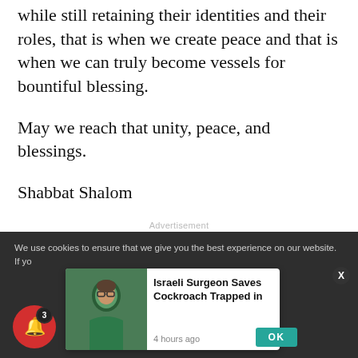while still retaining their identities and their roles, that is when we create peace and that is when we can truly become vessels for bountiful blessing.
May we reach that unity, peace, and blessings.
Shabbat Shalom
Advertisement
We use cookies to ensure that we give you the best experience on our website. If yo
Israeli Surgeon Saves Cockroach Trapped in
4 hours ago